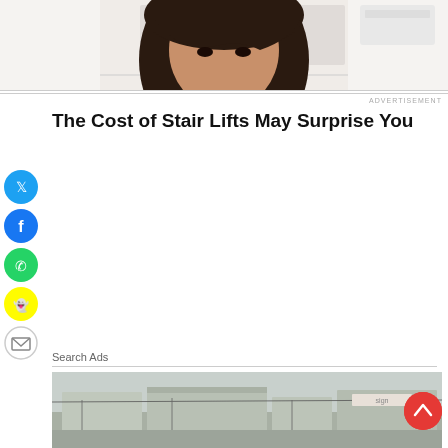[Figure (photo): Top portion of a person's face/head with dark hair against a light interior background]
ADVERTISEMENT
The Cost of Stair Lifts May Surprise You
[Figure (infographic): Social media share buttons: Twitter (blue), Facebook (blue), WhatsApp (green), Snapchat (yellow), Email (white)]
Search Ads
[Figure (photo): Outdoor scene with buildings and power lines, street-level view]